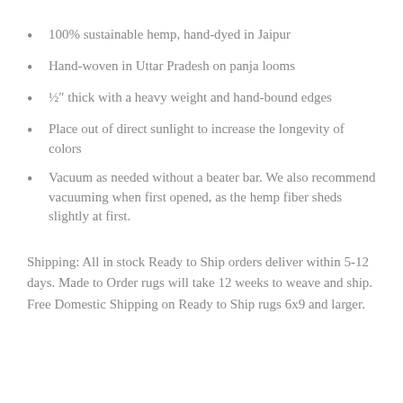100% sustainable hemp, hand-dyed in Jaipur
Hand-woven in Uttar Pradesh on panja looms
½″ thick with a heavy weight and hand-bound edges
Place out of direct sunlight to increase the longevity of colors
Vacuum as needed without a beater bar. We also recommend vacuuming when first opened, as the hemp fiber sheds slightly at first.
Shipping: All in stock Ready to Ship orders deliver within 5-12 days. Made to Order rugs will take 12 weeks to weave and ship. Free Domestic Shipping on Ready to Ship rugs 6x9 and larger.